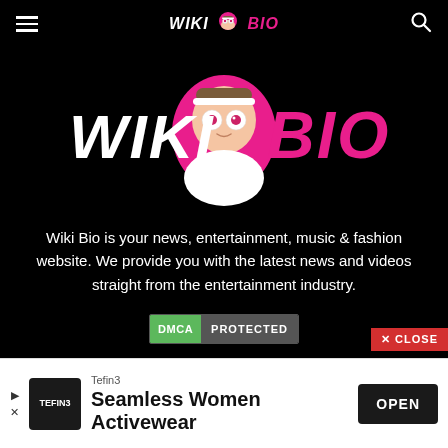WIKI BIO
[Figure (logo): Wiki Bio website logo with illustrated cartoon character (person with big eyes, pink circle head, white shirt), text WIKI in white italic bold and BIO in pink italic bold on black background]
Wiki Bio is your news, entertainment, music & fashion website. We provide you with the latest news and videos straight from the entertainment industry.
[Figure (other): DMCA Protected badge - green DMCA label with grey PROTECTED text]
✕ CLOSE
[Figure (other): Advertisement: Tefin3 - Seamless Women Activewear with OPEN button]